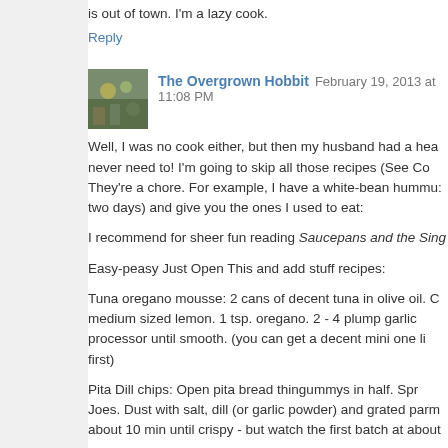is out of town. I'm a lazy cook.
Reply
The Overgrown Hobbit  February 19, 2013 at 11:08 PM
[Figure (photo): Avatar photo of The Overgrown Hobbit commenter]
Well, I was no cook either, but then my husband had a hea... never need to! I'm going to skip all those recipes (See Co... They're a chore. For example, I have a white-bean hummu... two days) and give you the ones I used to eat:
I recommend for sheer fun reading Saucepans and the Sing...
Easy-peasy Just Open This and add stuff recipes:
Tuna oregano mousse: 2 cans of decent tuna in olive oil. C... medium sized lemon. 1 tsp. oregano. 2 - 4 plump garlic... processor until smooth. (you can get a decent mini one li... first)
Pita Dill chips: Open pita bread thingummys in half. Spra... Joes. Dust with salt, dill (or garlic powder) and grated parm... about 10 min until crispy - but watch the first batch at about...
Queso Madness: A block of velveeta, cut into cubes, a ca... Nuke in the microwave until gooey. Enjoy with chips.
Easy-peasy crock pot meatballs: 2 bags of Trader Joe's "pa... in the crockpot. Start it in the morning, by dinner time you...